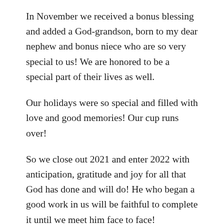In November we received a bonus blessing and added a God-grandson, born to my dear nephew and bonus niece who are so very special to us! We are honored to be a special part of their lives as well.
Our holidays were so special and filled with love and good memories! Our cup runs over!
So we close out 2021 and enter 2022 with anticipation, gratitude and joy for all that God has done and will do! He who began a good work in us will be faithful to complete it until we meet him face to face!
We are blessed beyond measure and I treasure each gift from above and each trial I can now consider pure joy. We are promised whenever we face trials of many kinds, the testing of our faith produces perseverance